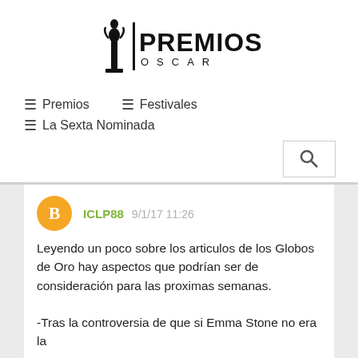[Figure (logo): Premios Oscar logo with Oscar statuette silhouette and text PREMIOS OSCAR]
≡ Premios
≡ Festivales
≡ La Sexta Nominada
[Figure (other): Search icon button]
ICLP88 9/1/17 11:26
Leyendo un poco sobre los articulos de los Globos de Oro hay aspectos que podrían ser de consideración para las proximas semanas.

-Tras la controversia de que si Emma Stone no era la